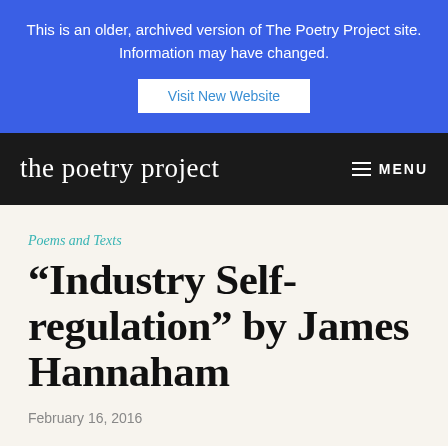This is an older, archived version of The Poetry Project site. Information may have changed. Visit New Website
the poetry project MENU
Poems and Texts
“Industry Self-regulation” by James Hannaham
February 16, 2016